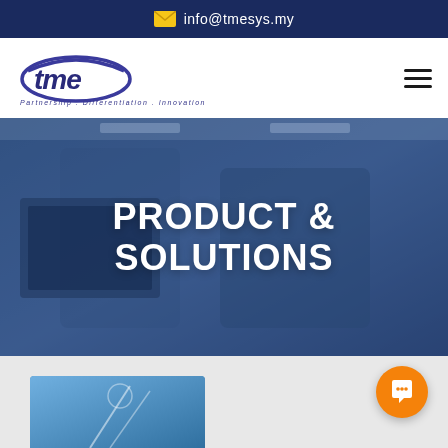info@tmesys.my
[Figure (logo): TME logo with tagline: Partnership. Differentiation. Innovation.]
PRODUCT & SOLUTIONS
[Figure (photo): Two professionals looking at a computer monitor in a technical environment, hero banner background]
[Figure (photo): Partial view of a product/technology image at the bottom of the page]
[Figure (illustration): Orange chat/message floating action button]